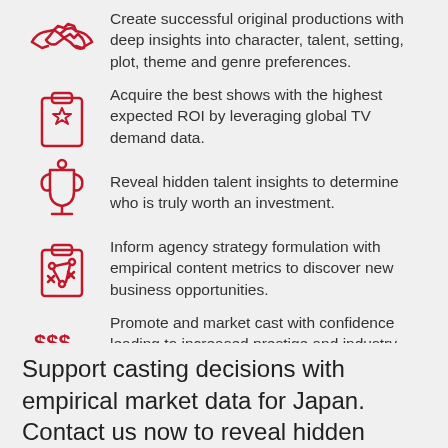Create successful original productions with deep insights into character, talent, setting, plot, theme and genre preferences.
Acquire the best shows with the highest expected ROI by leveraging global TV demand data.
Reveal hidden talent insights to determine who is truly worth an investment.
Inform agency strategy formulation with empirical content metrics to discover new business opportunities.
Promote and market cast with confidence leading to increased prestige and industry impact.
Support casting decisions with empirical market data for Japan. Contact us now to reveal hidden